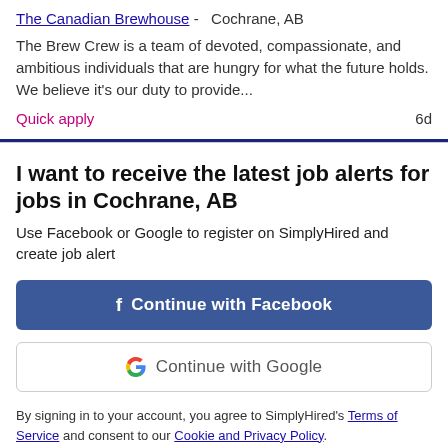The Canadian Brewhouse - Cochrane, AB
The Brew Crew is a team of devoted, compassionate, and ambitious individuals that are hungry for what the future holds. We believe it's our duty to provide...
Quick apply   6d
I want to receive the latest job alerts for jobs in Cochrane, AB
Use Facebook or Google to register on SimplyHired and create job alert
Continue with Facebook
Continue with Google
By signing in to your account, you agree to SimplyHired's Terms of Service and consent to our Cookie and Privacy Policy.